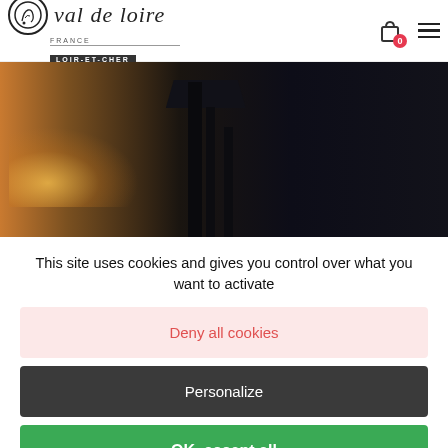[Figure (logo): Val de Loire France - Loir-et-Cher logo with circular emblem]
[Figure (photo): Dark moody photo of architectural columns/pillars with backlight glow]
This site uses cookies and gives you control over what you want to activate
Deny all cookies
Personalize
OK, accept all